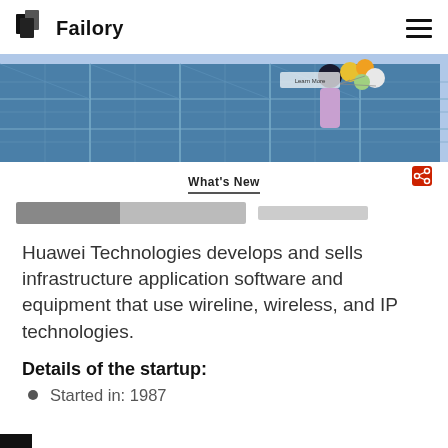Failory
[Figure (photo): Hero image showing solar panels with a woman holding balloons on the right side]
What's New
[Figure (screenshot): Content preview strip with dark left section and light gray right section]
Huawei Technologies develops and sells infrastructure application software and equipment that use wireline, wireless, and IP technologies.
Details of the startup:
Started in: 1987